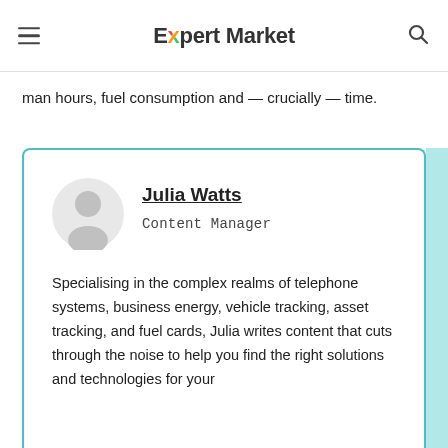Expert Market
man hours, fuel consumption and — crucially — time.
Julia Watts
Content Manager
Specialising in the complex realms of telephone systems, business energy, vehicle tracking, asset tracking, and fuel cards, Julia writes content that cuts through the noise to help you find the right solutions and technologies for your